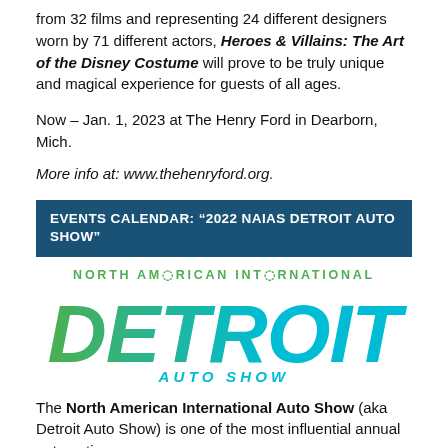from 32 films and representing 24 different designers worn by 71 different actors, Heroes & Villains: The Art of the Disney Costume will prove to be truly unique and magical experience for guests of all ages.
Now – Jan. 1, 2023 at The Henry Ford in Dearborn, Mich.
More info at: www.thehenryford.org.
EVENTS CALENDAR: “2022 NAIAS DETROIT AUTO SHOW”
[Figure (logo): North American International Detroit Auto Show logo with green and blue gradient text]
The North American International Auto Show (aka Detroit Auto Show) is one of the most influential annual automotive